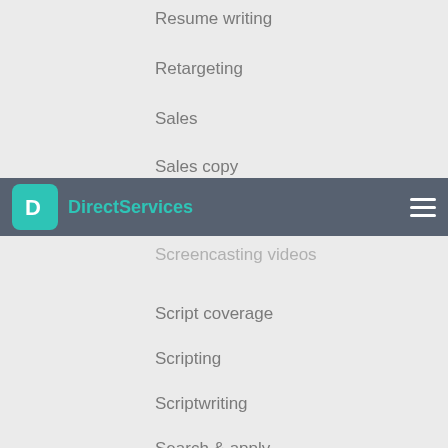Resume writing
Retargeting
Sales
Sales copy
Screencasting/recording
Screencasting videos
Script coverage
Scripting
Scriptwriting
Search & apply
Search engine marketing (sem)
Search engine marketing management
Search engine optimization (seo)
Session musicians
Setup
Setup & installation
Setup & strategy consultation
Shipping services
Shopping ads